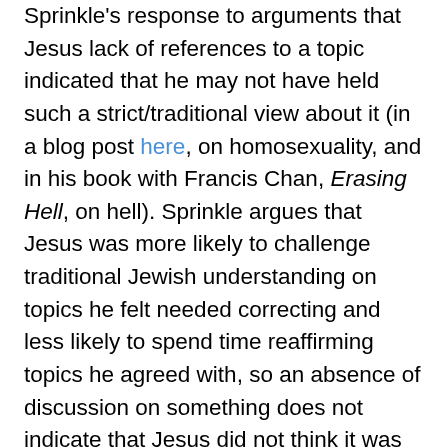Sprinkle's response to arguments that Jesus lack of references to a topic indicated that he may not have held such a strict/traditional view about it (in a blog post here, on homosexuality, and in his book with Francis Chan, Erasing Hell, on hell). Sprinkle argues that Jesus was more likely to challenge traditional Jewish understanding on topics he felt needed correcting and less likely to spend time reaffirming topics he agreed with, so an absence of discussion on something does not indicate that Jesus did not think it was important, but possibly even indicates that he likely agreed with the traditional thinking of the time on the matter. So I wonder if the relative lack of Adam in the New Testament could be argued in a similar manner.